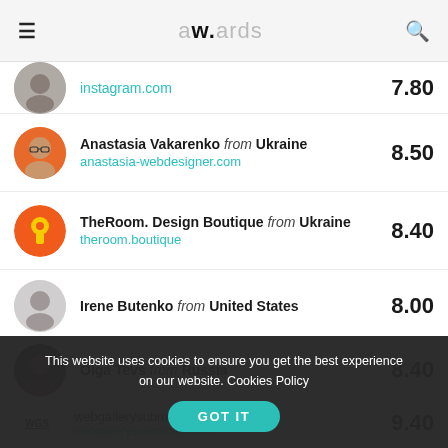a w. wards
instagram.com  7.80
Anastasia Vakarenko from Ukraine  anastasia-webdesigner.com  8.50
TheRoom. Design Boutique from Ukraine  theroom.boutique  8.40
Irene Butenko from United States  8.00
Olga Tevs from Russia  8.40
WGS  webgallerysubmission.com India  webgallerysubmission.com  9.40
This website uses cookies to ensure you get the best experience on our website. Cookies Policy
GOT IT